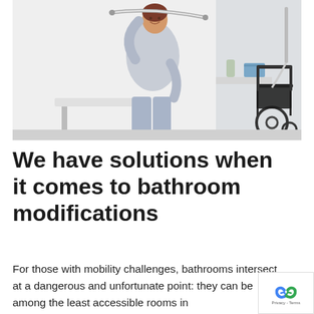[Figure (photo): A smiling woman in a light grey robe sits on a shower bench in an accessible bathroom, reaching up to hold a grab bar. A wheelchair is visible on the right side of the image.]
We have solutions when it comes to bathroom modifications
For those with mobility challenges, bathrooms intersect at a dangerous and unfortunate point: they can be among the least accessible rooms in